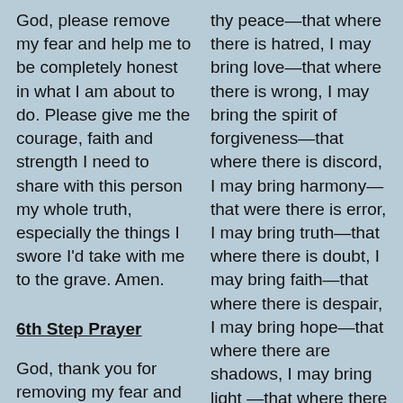God, please remove my fear and help me to be completely honest in what I am about to do. Please give me the courage, faith and strength I need to share with this person my whole truth, especially the things I swore I'd take with me to the grave. Amen.
6th Step Prayer
God, thank you for removing my fear and from showing me the truth about myself. I need your help to become willing to let go of the things in me which
thy peace—that where there is hatred, I may bring love—that where there is wrong, I may bring the spirit of forgiveness—that where there is discord, I may bring harmony—that were there is error, I may bring truth—that where there is doubt, I may bring faith—that where there is despair, I may bring hope—that where there are shadows, I may bring light—that where there is sadness, I may bring joy. Lord, grant that I may seek rather to comfort than to be comforted—to understand